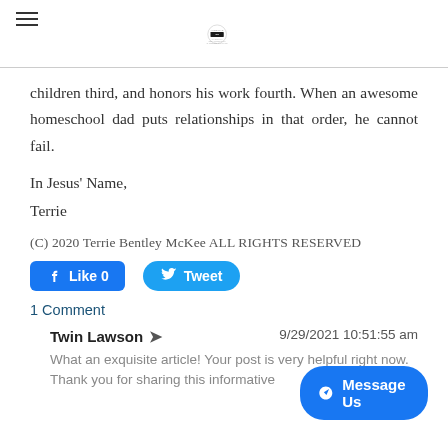One Child logo header with hamburger menu
children third, and honors his work fourth. When an awesome homeschool dad puts relationships in that order, he cannot fail.
In Jesus' Name,
Terrie
(C) 2020 Terrie Bentley McKee ALL RIGHTS RESERVED
[Figure (screenshot): Facebook Like button showing Like 0 and Twitter Tweet button]
1 Comment
Twin Lawson  9/29/2021 10:51:55 am
What an exquisite article! Your post is very helpful right now. Thank you for sharing this informative
[Figure (screenshot): Facebook Messenger Message Us button]